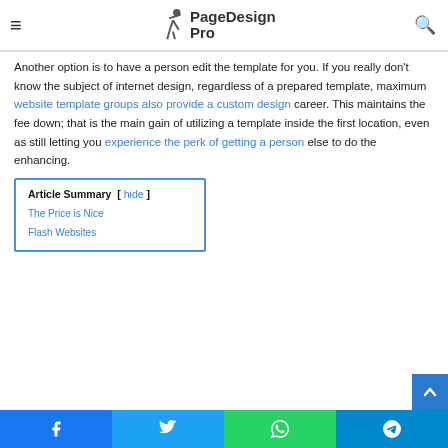PageDesign Pro
Another option is to have a person edit the template for you. If you really don't know the subject of internet design, regardless of a prepared template, maximum website template groups also provide a custom design career. This maintains the fee down; that is the main gain of utilizing a template inside the first location, even as still letting you experience the perk of getting a person else to do the enhancing.
Article Summary [ hide ]
The Price is Nice
Flash Websites
Facebook Twitter WhatsApp Telegram